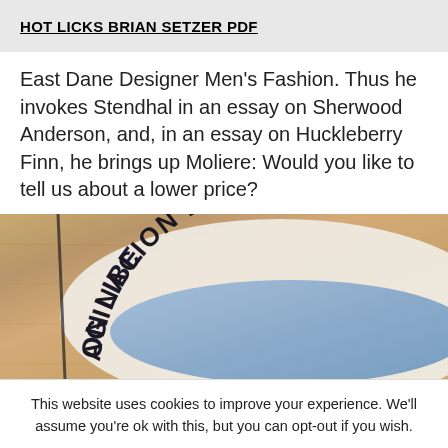HOT LICKS BRIAN SETZER PDF
East Dane Designer Men’s Fashion. Thus he invokes Stendhal in an essay on Sherwood Anderson, and, in an essay on Huckleberry Finn, he brings up Moliere: Would you like to tell us about a lower price?
[Figure (photo): Close-up photo of a circular logo or badge reading 'AGINACION LIBE...' (partially visible), with decorative arched text on a white/cream background, placed on a wooden surface. A blue oval shape is visible in the center.]
This website uses cookies to improve your experience. We'll assume you're ok with this, but you can opt-out if you wish.
Cookie settings   ACCEPT